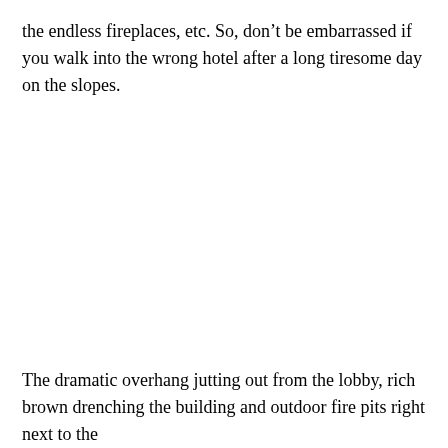the endless fireplaces, etc. So, don't be embarrassed if you walk into the wrong hotel after a long tiresome day on the slopes.
The dramatic overhang jutting out from the lobby, rich brown drenching the building and outdoor fire pits right next to the